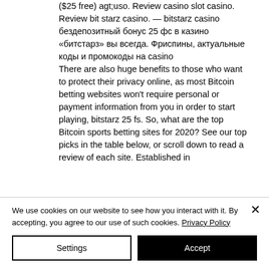($25 free) agt;uso. Review casino slot casino. Review bit starz casino. — bitstarz casino бездепозитный бонус 25 фс в казино «битстарз» вы всегда. Фриспины, актуальные коды и промокоды на casino
There are also huge benefits to those who want to protect their privacy online, as most Bitcoin betting websites won't require personal or payment information from you in order to start playing, bitstarz 25 fs. So, what are the top Bitcoin sports betting sites for 2020? See our top picks in the table below, or scroll down to read a review of each site. Established in
We use cookies on our website to see how you interact with it. By accepting, you agree to our use of such cookies. Privacy Policy
Settings
Accept